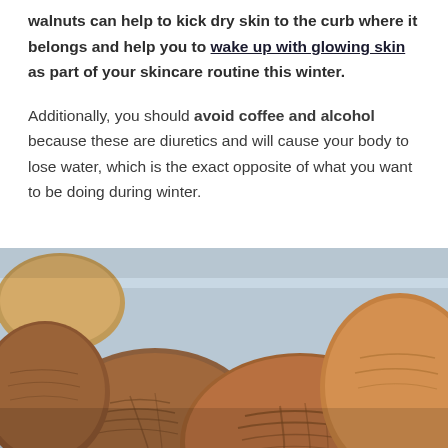walnuts can help to kick dry skin to the curb where it belongs and help you to wake up with glowing skin as part of your skincare routine this winter.
Additionally, you should avoid coffee and alcohol because these are diuretics and will cause your body to lose water, which is the exact opposite of what you want to be doing during winter.
[Figure (photo): Close-up photograph of walnuts in their shells, light blue background, warm brown tones, macro photography style.]